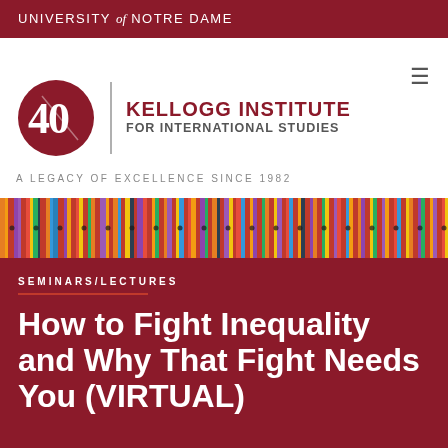UNIVERSITY of NOTRE DAME
[Figure (logo): Kellogg Institute for International Studies 40th anniversary logo with circular red badge, vertical divider, institute name in dark red, and tagline 'A Legacy of Excellence Since 1982']
[Figure (photo): Colorful woven textile fabric banner with vertical stripes in red, yellow, orange, purple, blue, and green colors]
SEMINARS/LECTURES
How to Fight Inequality and Why That Fight Needs You (VIRTUAL)